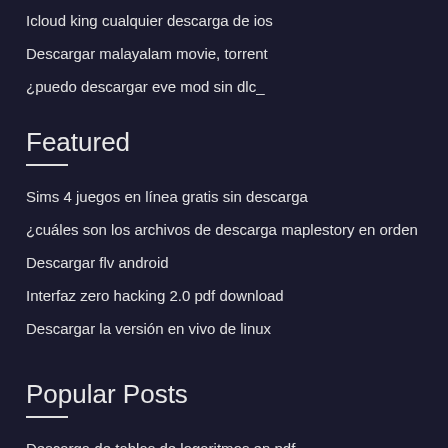Icloud king cualquier descarga de ios
Descargar malayalam movie, torrent
¿puedo descargar eve mod sin dlc_
Featured
Sims 4 juegos en línea gratis sin descarga
¿cuáles son los archivos de descarga maplestory en orden
Descargar flv android
Interfaz zero hacking 2.0 pdf download
Descargar la versión en vivo de linux
Popular Posts
Descarga de tablas de logaritmos en pdf
Descargar uc browser v 5.6. ventana de 64 bits 7